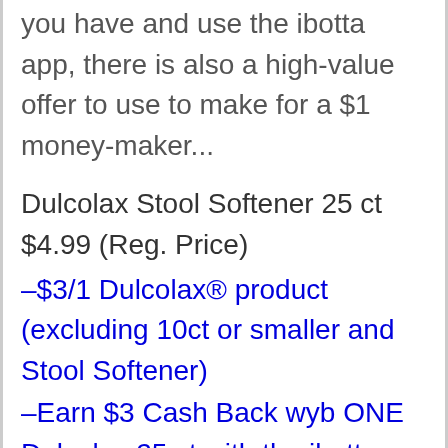you have and use the ibotta app, there is also a high-value offer to use to make for a $1 money-maker...
Dulcolax Stool Softener 25 ct $4.99 (Reg. Price)
–$3/1 Dulcolax® product (excluding 10ct or smaller and Stool Softener)
–Earn $3 Cash Back wyb ONE Dulcolax 25 ct with the ibotta App (limit 1)